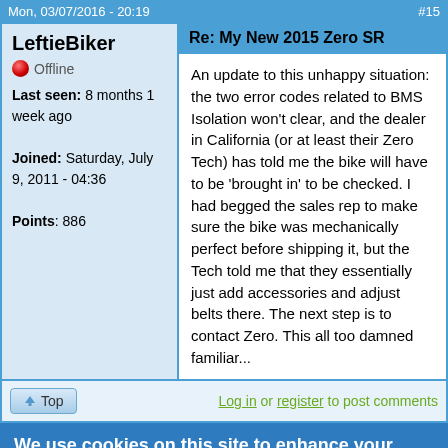Mon, 03/07/2016 - 20:19  #15
LeftieBiker
Offline
Last seen: 8 months 1 week ago
Joined: Saturday, July 9, 2011 - 04:36
Points: 886
Re: My New 2015 Zero SR
An update to this unhappy situation: the two error codes related to BMS Isolation won't clear, and the dealer in California (or at least their Zero Tech) has told me the bike will have to be 'brought in' to be checked. I had begged the sales rep to make sure the bike was mechanically perfect before shipping it, but the Tech told me that they essentially just add accessories and adjust belts there. The next step is to contact Zero. This all too damned familiar...
Top  Log in or register to post comments
We use cookies on this site to enhance your user experience
By clicking any link on this page you are giving your consent for us to set cookies.
No, give me more info
OK, I agree